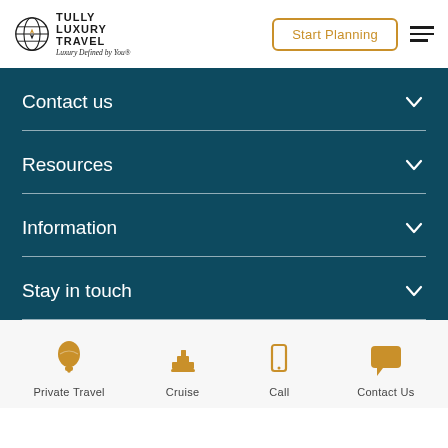Tully Luxury Travel — Luxury Defined by You®
Contact us
Resources
Information
Stay in touch
Private Travel
Cruise
Call
Contact Us